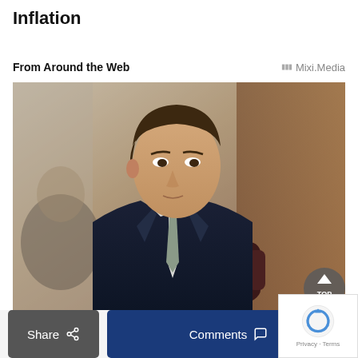Inflation
From Around the Web
[Figure (photo): A young man in a dark suit and grey tie seated at a conference table, looking to his right. Background includes architectural details and another person partially visible.]
Share   Comments   Privacy · Terms